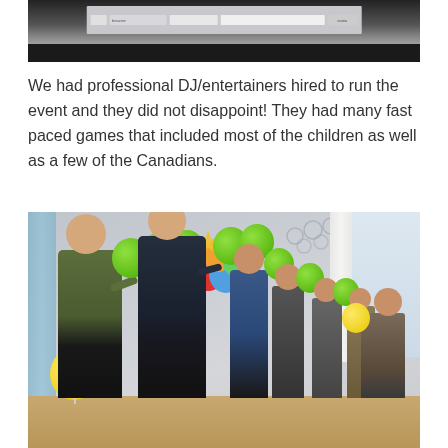[Figure (photo): Top portion of a photo showing a dark room with a projection screen displaying a computer desktop interface with browser tabs visible.]
We had professional DJ/entertainers hired to run the event and they did not disappoint!  They had many fast paced games that included most of the children as well as a few of the Canadians.
[Figure (photo): Photo of children and adults in a decorated hall blowing up green balloons in a line, as part of a game activity. There is a yellow balloon on the floor to the left, colorful balloons in the background, curtains and window visible on the right side.]